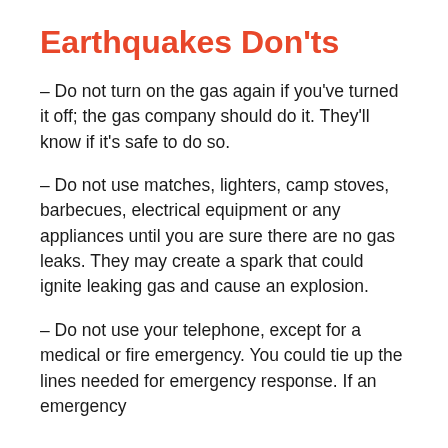Earthquakes Don'ts
– Do not turn on the gas again if you've turned it off; the gas company should do it. They'll know if it's safe to do so.
– Do not use matches, lighters, camp stoves, barbecues, electrical equipment or any appliances until you are sure there are no gas leaks. They may create a spark that could ignite leaking gas and cause an explosion.
– Do not use your telephone, except for a medical or fire emergency. You could tie up the lines needed for emergency response. If an emergency